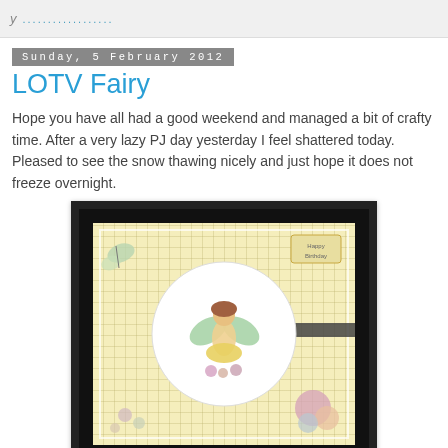y ..................
Sunday, 5 February 2012
LOTV Fairy
Hope you have all had a good weekend and managed a bit of crafty time. After a very lazy PJ day yesterday I feel shattered today. Pleased to see the snow thawing nicely and just hope it does not freeze overnight.
[Figure (photo): A handmade birthday card featuring a fairy illustration in a circular frame, on yellow gingham patterned paper with floral embellishments and a Happy Birthday tag in the corner.]
On with todays card - I could spend hours colouring in these gorgeous images from Lili of the Valley and they have some